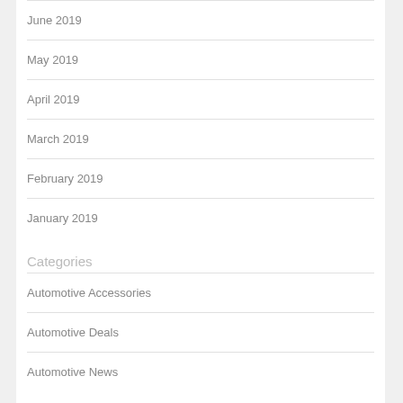June 2019
May 2019
April 2019
March 2019
February 2019
January 2019
Categories
Automotive Accessories
Automotive Deals
Automotive News